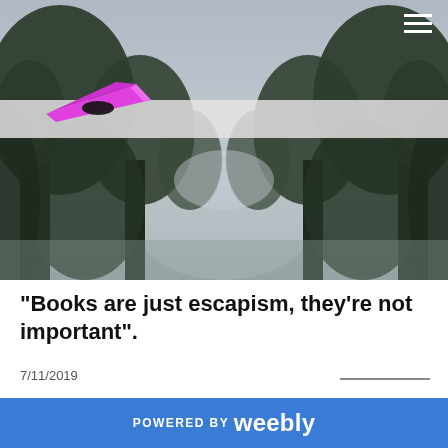[Figure (photo): Aerial/road-level view of a tree-lined avenue with misty sky, dark green tree canopy on both sides converging to a foggy vanishing point. A pink geometric logo/book shape overlays the top-left. A light grey/white navigation bar overlays upper center. White hamburger menu icon in top-right corner.]
"Books are just escapism, they're not important".
7/11/2019
POWERED BY weebly